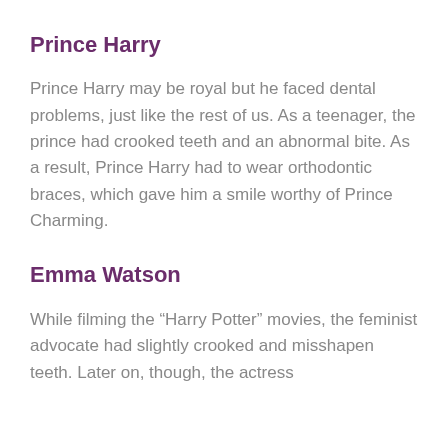Prince Harry
Prince Harry may be royal but he faced dental problems, just like the rest of us. As a teenager, the prince had crooked teeth and an abnormal bite. As a result, Prince Harry had to wear orthodontic braces, which gave him a smile worthy of Prince Charming.
Emma Watson
While filming the “Harry Potter” movies, the feminist advocate had slightly crooked and misshapen teeth. Later on, though, the actress